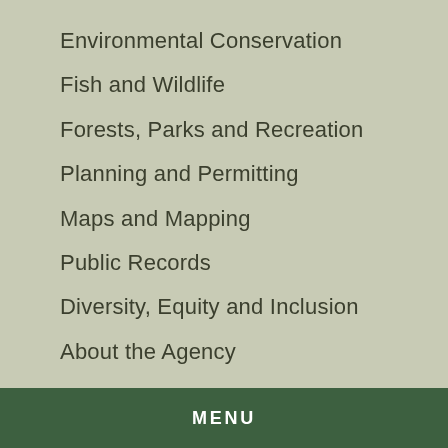Environmental Conservation
Fish and Wildlife
Forests, Parks and Recreation
Planning and Permitting
Maps and Mapping
Public Records
Diversity, Equity and Inclusion
About the Agency
Contact Us
MENU